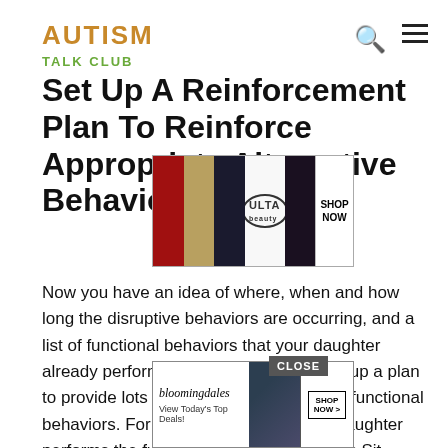AUTISM TALK CLUB
Set Up A Reinforcement Plan To Reinforce Appropriate Alternative Behaviors
[Figure (advertisement): Ulta Beauty advertisement banner with makeup images and SHOP NOW button]
Now you have an idea of where, when and how long the disruptive behaviors are occurring, and a list of functional behaviors that your daughter already performs. The next step is to set up a plan to provide lots of reinforcement for those functional behaviors. For example, whenever the daughter performs the functional behaviors such as Sit Quietly, Holds Head Up, Quiet Mouth, Says Appropriate Words/Sounds, reinforce her for those behaviors. Make every effort not to reinforce her for screaming around, look away u Mouth, Appro ly
[Figure (advertisement): Bloomingdale's advertisement: View Today's Top Deals! with SHOP NOW > button]